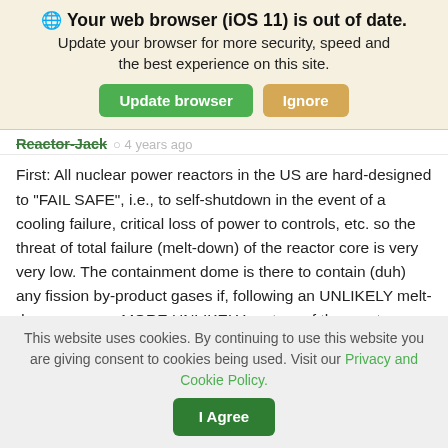[Figure (screenshot): Browser update notification banner with globe icon, bold title 'Your web browser (iOS 11) is out of date.', subtitle text, and two buttons: 'Update browser' (green) and 'Ignore' (tan/orange)]
Reactor-Jack  4 years ago
First: All nuclear power reactors in the US are hard-designed to "FAIL SAFE", i.e., to self-shutdown in the event of a cooling failure, critical loss of power to controls, etc. so the threat of total failure (melt-down) of the reactor core is very very low. The containment dome is there to contain (duh) any fission by-product gases if, following an UNLIKELY melt-down, an even MORE UNLIKELY rupture of the reactor case or system piping occurs. Any fission by-product solids exposed by the event are just gonna sit there
This website uses cookies. By continuing to use this website you are giving consent to cookies being used. Visit our Privacy and Cookie Policy.
[Figure (screenshot): Cookie consent bar with 'I Agree' button (dark green)]